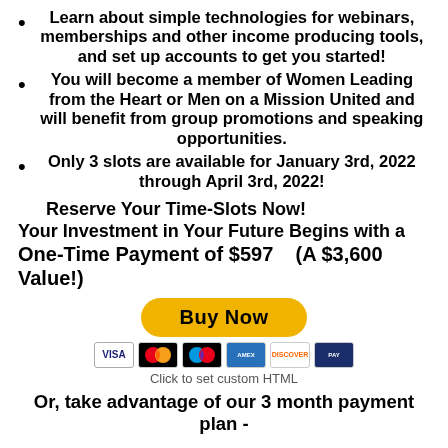Learn about simple technologies for webinars, memberships and other income producing tools, and set up accounts to get you started!
You will become a member of Women Leading from the Heart or Men on a Mission United and will benefit from group promotions and speaking opportunities.
Only 3 slots are available for January 3rd, 2022 through April 3rd, 2022!
Reserve Your Time-Slots Now!
Your Investment in Your Future Begins with a One-Time Payment of $597    (A $3,600 Value!)
[Figure (other): Buy Now button with PayPal-style yellow rounded rectangle, followed by payment card icons (Visa, Mastercard, Maestro, Amex, Discover, another card)]
Click to set custom HTML
Or, take advantage of our 3 month payment plan -